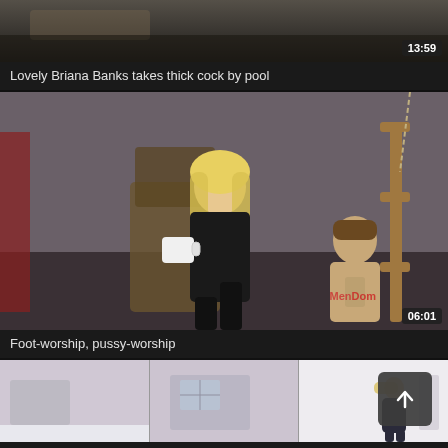[Figure (screenshot): Video thumbnail showing a pool scene, duration badge 13:59]
Lovely Briana Banks takes thick cock by pool
[Figure (screenshot): Video thumbnail showing a blonde woman in black latex sitting on a throne holding a mug, with a shirtless man kneeling nearby in a dungeon-like room. Watermark visible. Duration badge 06:01]
Foot-worship, pussy-worship
[Figure (screenshot): Third video thumbnail strip showing three panels: left panel with a room, center panel with a different room/window, right panel with a blonde woman standing in a white room. Scroll-to-top button overlay.]